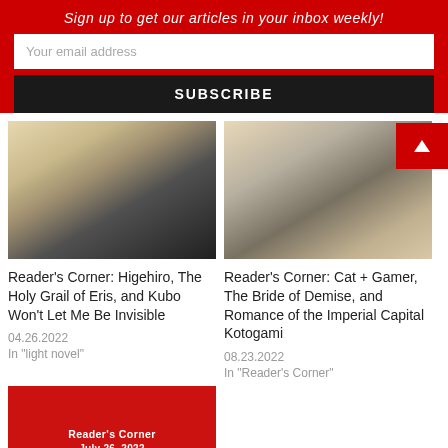Sign up to get our articles in your inbox weekly!
Your email address
SUBSCRIBE
[Figure (photo): Anime character with blonde hair sitting surrounded by stacks of black books in a room with bookshelves]
[Figure (photo): Two anime characters holding up manga/books in front of their faces, smiling]
Reader's Corner: Higehiro, The Holy Grail of Eris, and Kubo Won't Let Me Be Invisible
04.26.2022
In "light novel"
Reader's Corner: Cat + Gamer, The Bride of Demise, and Romance of the Imperial Capital Kotogami
08.23.2022
In "Reader's Corner"
[Figure (photo): Reader's Corner July 26, 2022 — colorful anime characters collage with red background]